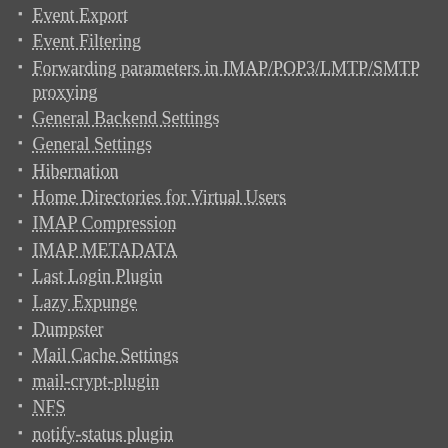Event Export
Event Filtering
Forwarding parameters in IMAP/POP3/LMTP/SMTP proxying
General Backend Settings
General Settings
Hibernation
Home Directories for Virtual Users
IMAP Compression
IMAP METADATA
Last Login Plugin
Lazy Expunge
Dumpster
Mail Cache Settings
mail-crypt-plugin
NFS
notify-status plugin
stats (old_stats)
Proxy Settings